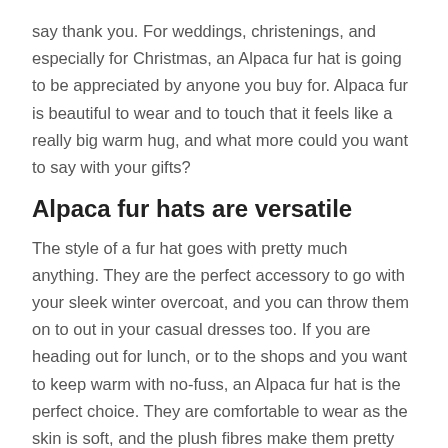say thank you. For weddings, christenings, and especially for Christmas, an Alpaca fur hat is going to be appreciated by anyone you buy for. Alpaca fur is beautiful to wear and to touch that it feels like a really big warm hug, and what more could you want to say with your gifts?
Alpaca fur hats are versatile
The style of a fur hat goes with pretty much anything. They are the perfect accessory to go with your sleek winter overcoat, and you can throw them on to out in your casual dresses too. If you are heading out for lunch, or to the shops and you want to keep warm with no-fuss, an Alpaca fur hat is the perfect choice. They are comfortable to wear as the skin is soft, and the plush fibres make them pretty much the warmest material money can buy.
Alpaca fur hats are ecological